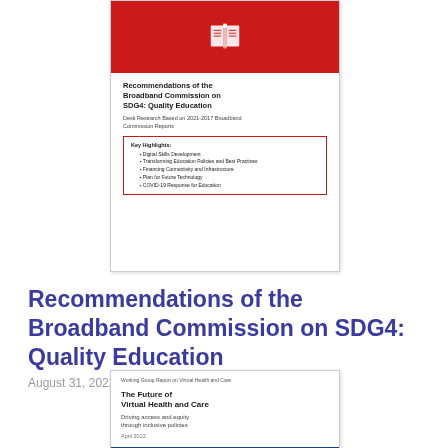[Figure (illustration): Thumbnail of report cover: Recommendations of the Broadband Commission on SDG4: Quality Education. Red top with book icon, white body with title, subtitle, and key highlights box listing 5 bullet points.]
Recommendations of the Broadband Commission on SDG4: Quality Education
August 31, 2022
[Figure (illustration): Thumbnail of report cover: The Future of Virtual Health and Care. Driving access and equity through inclusive policies. April 2022. White top with title and subtitle text, blue band at bottom with partial circular icon.]